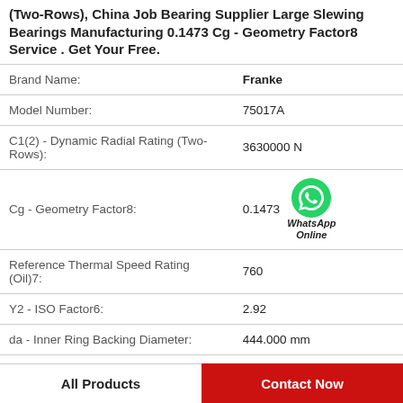(Two-Rows), China Job Bearing Supplier Large Slewing Bearings Manufacturing 0.1473 Cg - Geometry Factor8 Service . Get Your Free.
| Property | Value |
| --- | --- |
| Brand Name: | Franke |
| Model Number: | 75017A |
| C1(2) - Dynamic Radial Rating (Two-Rows): | 3630000 N |
| Cg - Geometry Factor8: | 0.1473 |
| Reference Thermal Speed Rating (Oil)7: | 760 |
| Y2 - ISO Factor6: | 2.92 |
| da - Inner Ring Backing Diameter: | 444.000 mm |
| d: | 400.000 mm |
[Figure (logo): WhatsApp Online green circular icon with phone symbol and text 'WhatsApp Online']
All Products   Contact Now